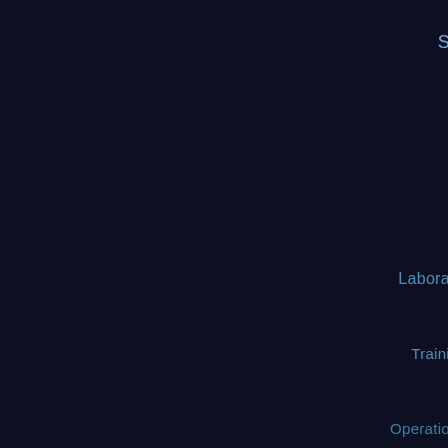S...
Labora...
Traini...
Operatio...
Informati...
F...
Su...
Crim...
Sca...